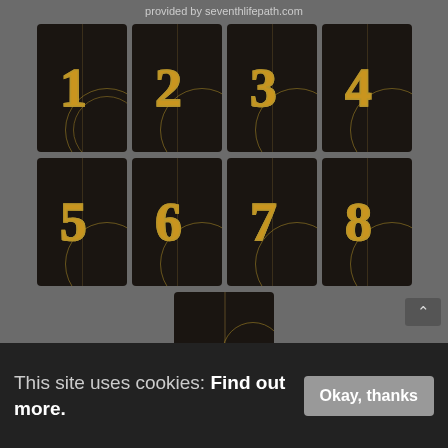provided by seventhlifepath.com
[Figure (illustration): Grid of 9 decorative dark cards with gold ornamental numbers 1-8 and one partial card, each featuring a mandala design on a dark background. Numbers 1-4 in top row, 5-8 in second row, partial card in third row. Cards have a vertical center divider and half-mandala decoration on the right side.]
This site uses cookies: Find out more.
Okay, thanks